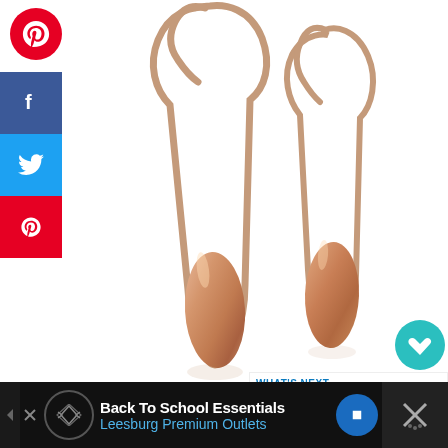[Figure (photo): Rose gold teardrop dangle earrings on white background]
Rose Gold Teardrop Earrings
[Figure (infographic): WHAT'S NEXT panel - The Best Gifts for Men Ove...]
Back To School Essentials
Leesburg Premium Outlets